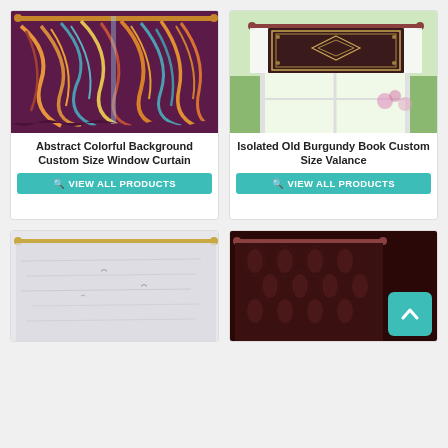[Figure (photo): Abstract colorful swirling background window curtain product photo with dark purple/maroon base and multicolor swirling patterns]
Abstract Colorful Background Custom Size Window Curtain
VIEW ALL PRODUCTS
[Figure (photo): Isolated Old Burgundy Book cover pattern used as custom size valance, shown hanging on a window with garden view]
Isolated Old Burgundy Book Custom Size Valance
VIEW ALL PRODUCTS
[Figure (photo): Light grey/white curtain with subtle horizontal brushstroke pattern, partial bottom card view]
[Figure (photo): Dark burgundy/brown damask patterned valance, partial bottom card view with scroll-to-top button overlay]